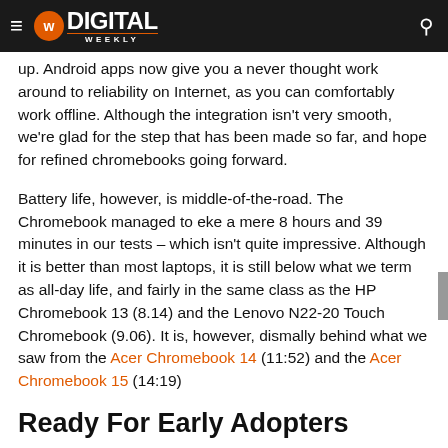DIGITAL WEEKLY
up. Android apps now give you a never thought work around to reliability on Internet, as you can comfortably work offline. Although the integration isn't very smooth, we're glad for the step that has been made so far, and hope for refined chromebooks going forward.
Battery life, however, is middle-of-the-road. The Chromebook managed to eke a mere 8 hours and 39 minutes in our tests – which isn't quite impressive. Although it is better than most laptops, it is still below what we term as all-day life, and fairly in the same class as the HP Chromebook 13 (8.14) and the Lenovo N22-20 Touch Chromebook (9.06). It is, however, dismally behind what we saw from the Acer Chromebook 14 (11:52) and the Acer Chromebook 15 (14:19)
Ready For Early Adopters